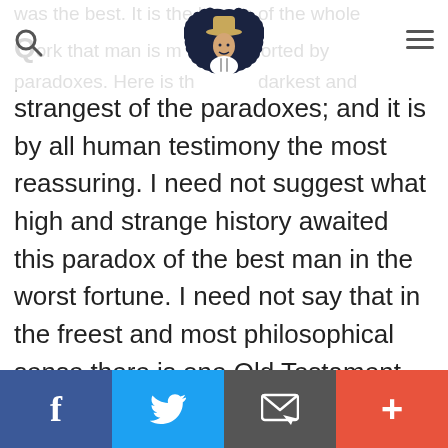[Navigation bar with search icon, logo, and hamburger menu]
was the best. It is the lesson of the whole work that man is most comforted by paradoxes. Here is the darkest and strangest of the paradoxes; and it is by all human testimony the most reassuring. I need not suggest what high and strange history awaited this paradox of the best man in the worst fortune. I need not say that in the freest and most philosophical sense there is one Old Testament figure who is truly a type; or say what is prefigured in the wounds of Job.
Facebook | Twitter | Email | +